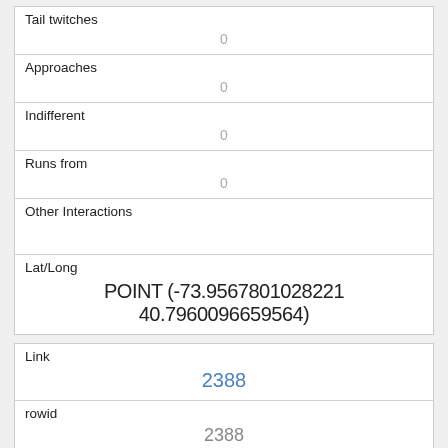| Tail twitches | 0 |
| Approaches | 0 |
| Indifferent | 0 |
| Runs from | 0 |
| Other Interactions |  |
| Lat/Long | POINT (-73.9567801028221 40.7960096659564) |
| Link | 2388 |
| rowid | 2388 |
| longitude | -73.96044476047877 |
| latitude | 40.79299142287332 |